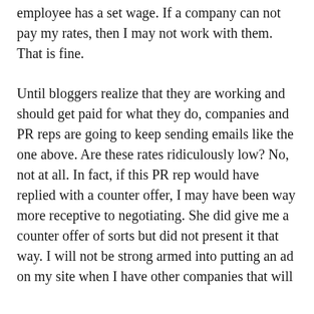employee has a set wage. If a company can not pay my rates, then I may not work with them. That is fine.
Until bloggers realize that they are working and should get paid for what they do, companies and PR reps are going to keep sending emails like the one above. Are these rates ridiculously low? No, not at all. In fact, if this PR rep would have replied with a counter offer, I may have been way more receptive to negotiating. She did give me a counter offer of sorts but did not present it that way. I will not be strong armed into putting an ad on my site when I have other companies that will